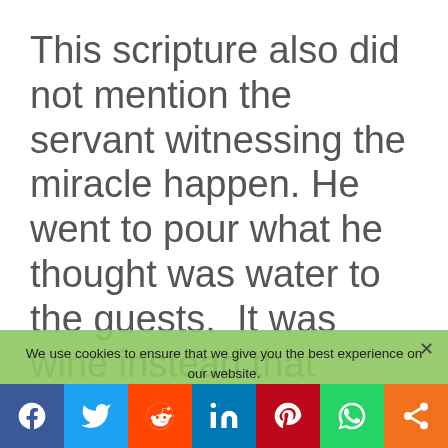This scripture also did not mention the servant witnessing the miracle happen. He went to pour what he thought was water to the guests.  It was wine instead that came out of the vessel.
We use cookies to ensure that we give you the best experience on our website.
[Figure (infographic): Social sharing bar with icons for Facebook, Twitter, Reddit, LinkedIn, Pinterest, WhatsApp, and a share icon]